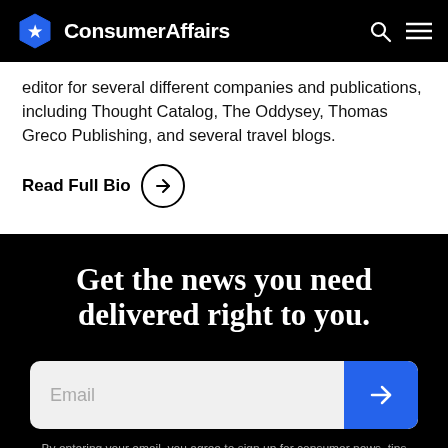ConsumerAffairs
editor for several different companies and publications, including Thought Catalog, The Oddysey, Thomas Greco Publishing, and several travel blogs.
Read Full Bio →
Get the news you need delivered right to you.
Email
By entering your email, you agree to sign up for consumer news, tips and